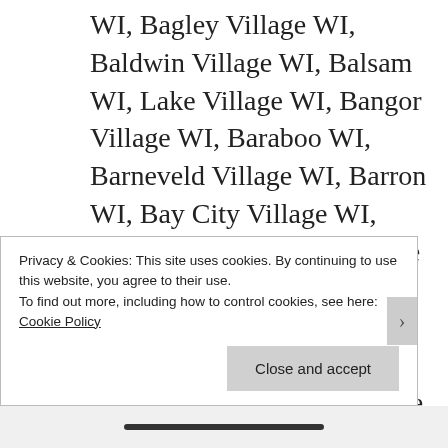WI, Bagley Village WI, Baldwin Village WI, Balsam WI, Lake Village WI, Bangor Village WI, Baraboo WI, Barneveld Village WI, Barron WI, Bay City Village WI, Bayfield WI, Bayside Village WI, Bear Creek Village WI, Beaver Dam WI, Belgium Village WI, Bell Center Village WI, Belleville Village WI, Bellevue
Privacy & Cookies: This site uses cookies. By continuing to use this website, you agree to their use.
To find out more, including how to control cookies, see here: Cookie Policy